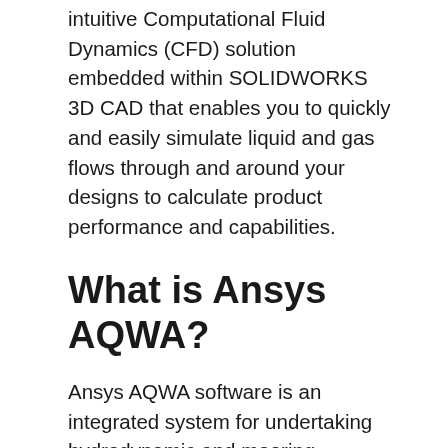intuitive Computational Fluid Dynamics (CFD) solution embedded within SOLIDWORKS 3D CAD that enables you to quickly and easily simulate liquid and gas flows through and around your designs to calculate product performance and capabilities.
What is Ansys AQWA?
Ansys AQWA software is an integrated system for undertaking hydrodynamic and mooring analyses. Functionally is split into six operations: Diffraction/radiation. Static and dynamic initial stability including the effects of mooring systems and other physical connections. Frequency domain dynamic analysis.